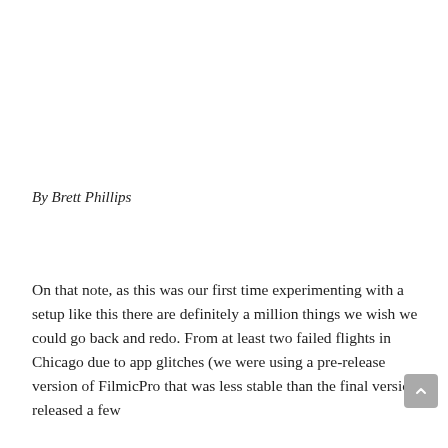By Brett Phillips
On that note, as this was our first time experimenting with a setup like this there are definitely a million things we wish we could go back and redo. From at least two failed flights in Chicago due to app glitches (we were using a pre-release version of FilmicPro that was less stable than the final version released a few weeks later) to the simple blessing of creating with a clean...